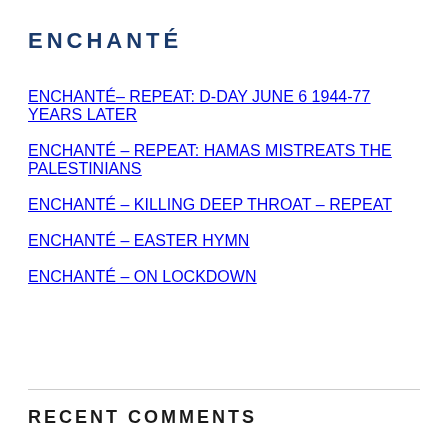ENCHANTÉ
ENCHANTÉ– REPEAT: D-DAY JUNE 6 1944-77 YEARS LATER
ENCHANTÉ – REPEAT: HAMAS MISTREATS THE PALESTINIANS
ENCHANTÉ – KILLING DEEP THROAT – REPEAT
ENCHANTÉ – EASTER HYMN
ENCHANTÉ – ON LOCKDOWN
RECENT COMMENTS